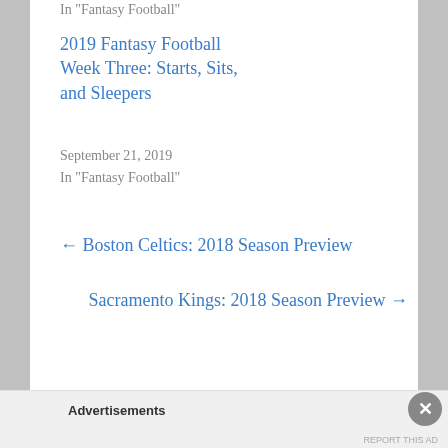In "Fantasy Football"
2019 Fantasy Football Week Three: Starts, Sits, and Sleepers
September 21, 2019
In "Fantasy Football"
← Boston Celtics: 2018 Season Preview
Sacramento Kings: 2018 Season Preview →
Advertisements
REPORT THIS AD